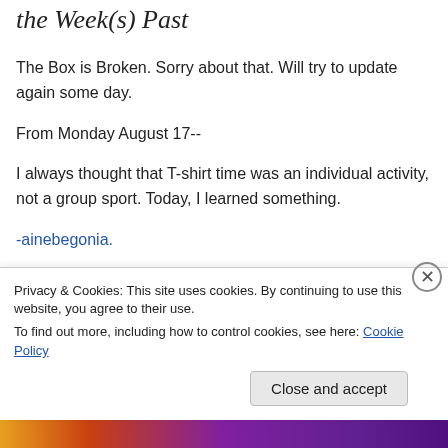the Week(s) Past
The Box is Broken. Sorry about that. Will try to update again some day.
From Monday August 17--
I always thought that T-shirt time was an individual activity, not a group sport. Today, I learned something.
-ainebegonia.
From Wednesday August 19 --
Privacy & Cookies: This site uses cookies. By continuing to use this website, you agree to their use.
To find out more, including how to control cookies, see here: Cookie Policy
Close and accept